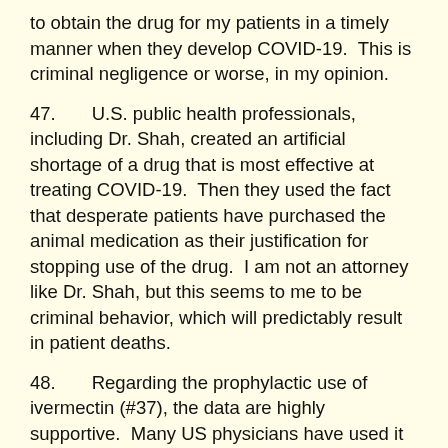to obtain the drug for my patients in a timely manner when they develop COVID-19.  This is criminal negligence or worse, in my opinion.
47.       U.S. public health professionals, including Dr. Shah, created an artificial shortage of a drug that is most effective at treating COVID-19.  Then they used the fact that desperate patients have purchased the animal medication as their justification for stopping use of the drug.  I am not an attorney like Dr. Shah, but this seems to me to be criminal behavior, which will predictably result in patient deaths.
48.       Regarding the prophylactic use of ivermectin (#37), the data are highly supportive.  Many US physicians have used it to prevent infection in themselves.  A meta-analysis of prophylaxis studies of ivermectin reveals that using ivermectin reduces your risk of developing COVID-19 by 86%.  Why did Dr. Shah